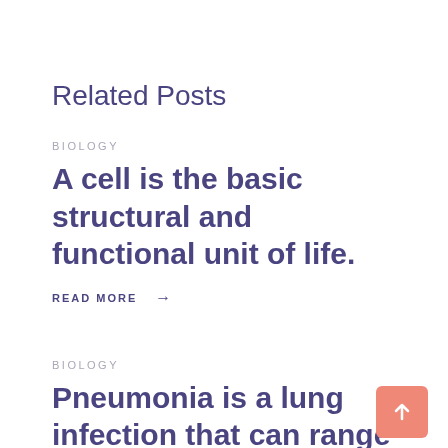Related Posts
BIOLOGY
A cell is the basic structural and functional unit of life.
READ MORE →
BIOLOGY
Pneumonia is a lung infection that can range from mild to so severe